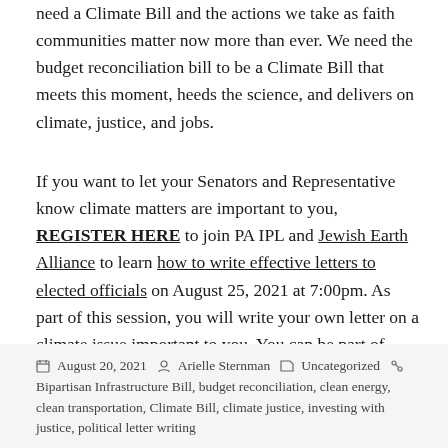need a Climate Bill and the actions we take as faith communities matter now more than ever. We need the budget reconciliation bill to be a Climate Bill that meets this moment, heeds the science, and delivers on climate, justice, and jobs.
If you want to let your Senators and Representative know climate matters are important to you, REGISTER HERE to join PA IPL and Jewish Earth Alliance to learn how to write effective letters to elected officials on August 25, 2021 at 7:00pm. As part of this session, you will write your own letter on a climate issue important to you. You can be part of making a Climate Bill a reality.
August 20, 2021   Arielle Sternman   Uncategorized   Bipartisan Infrastructure Bill, budget reconciliation, clean energy, clean transportation, Climate Bill, climate justice, investing with justice, political letter writing